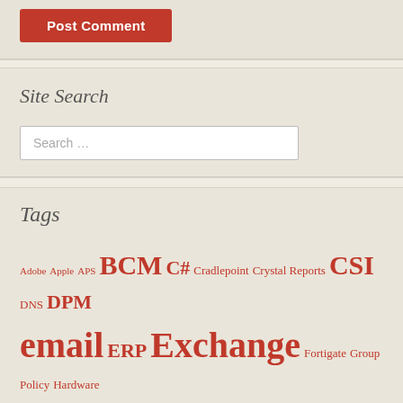Post Comment
Site Search
Search …
Tags
Adobe Apple APS BCM C# Cradlepoint Crystal Reports CSI DNS DPM email ERP Exchange Fortigate Group Policy Hardware Hyper-V IE IIS iSCSI JDE JobBOSS Kaspersky MAS 90 McAfee mopier OT Outlook Powershell Raiser's Edge SharePoint SNMP SQL Syteline ... Terminal S... TNS VB ... ... VPN Windows 7